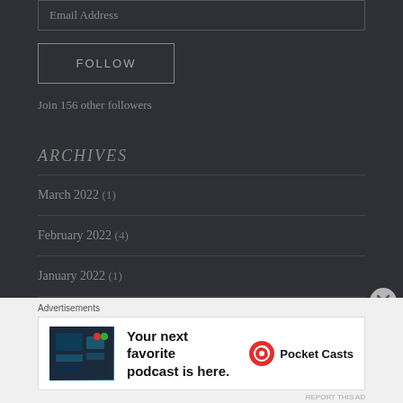Email Address
FOLLOW
Join 156 other followers
ARCHIVES
March 2022 (1)
February 2022 (4)
January 2022 (1)
[Figure (screenshot): Advertisement banner for Pocket Casts podcast app: 'Your next favorite podcast is here.' with Pocket Casts logo]
Advertisements
REPORT THIS AD